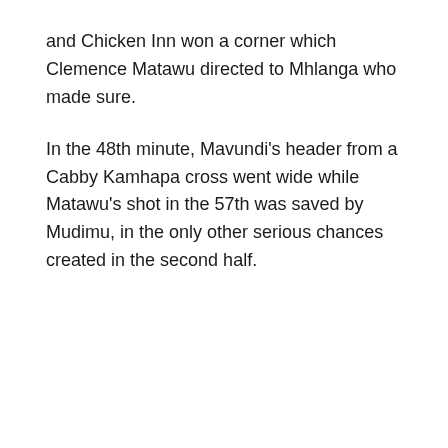and Chicken Inn won a corner which Clemence Matawu directed to Mhlanga who made sure.
In the 48th minute, Mavundi's header from a Cabby Kamhapa cross went wide while Matawu's shot in the 57th was saved by Mudimu, in the only other serious chances created in the second half.